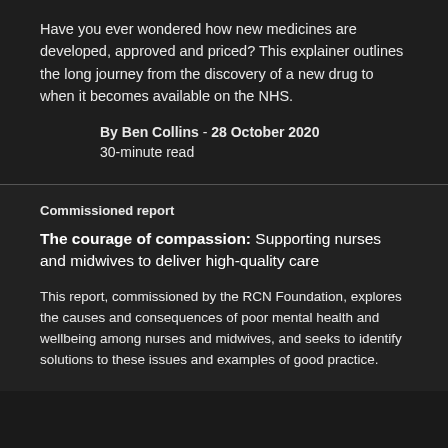Have you ever wondered how new medicines are developed, approved and priced? This explainer outlines the long journey from the discovery of a new drug to when it becomes available on the NHS.
By Ben Collins - 28 October 2020
30-minute read
Commissioned report
The courage of compassion: Supporting nurses and midwives to deliver high-quality care
This report, commissioned by the RCN Foundation, explores the causes and consequences of poor mental health and wellbeing among nurses and midwives, and seeks to identify solutions to these issues and examples of good practice.